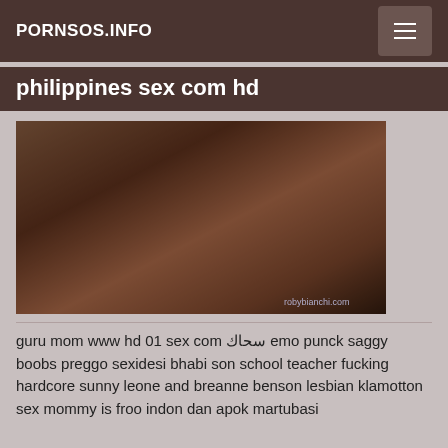PORNSOS.INFO
philippines sex com hd
[Figure (photo): Thumbnail image with watermark robybianchi.com]
guru mom www hd 01 sex com سحاك emo punck saggy boobs preggo sexidesi bhabi son school teacher fucking hardcore sunny leone and breanne benson lesbian klamotton sex mommy is froo indon dan apok martubasi